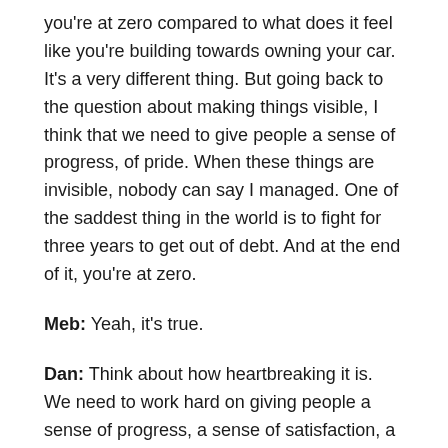you're at zero compared to what does it feel like you're building towards owning your car. It's a very different thing. But going back to the question about making things visible, I think that we need to give people a sense of progress, of pride. When these things are invisible, nobody can say I managed. One of the saddest thing in the world is to fight for three years to get out of debt. And at the end of it, you're at zero.
Meb: Yeah, it's true.
Dan: Think about how heartbreaking it is. We need to work hard on giving people a sense of progress, a sense of satisfaction, a sense that you're doing the right thing by taking care of their families. Because on the spending side, we have all of those. You buy yourself a new iPhone, you think of yourself as a success, your family think about you